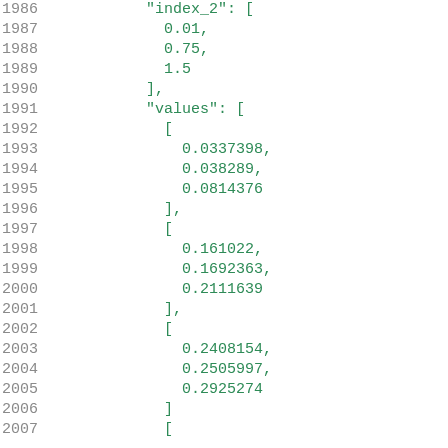Code listing lines 1986-2006 showing JSON-like structure with index_2 array [0.01, 0.75, 1.5] and values array of arrays containing floating point numbers